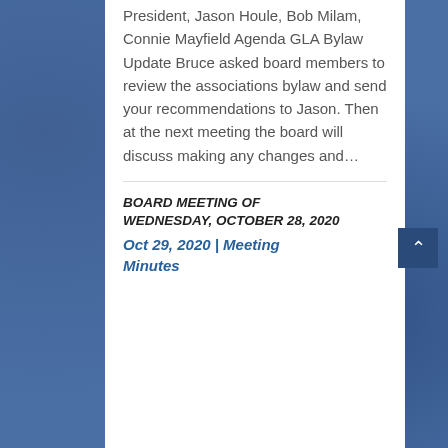President, Jason Houle, Bob Milam, Connie Mayfield Agenda GLA Bylaw Update Bruce asked board members to review the associations bylaw and send your recommendations to Jason. Then at the next meeting the board will discuss making any changes and…
BOARD MEETING OF WEDNESDAY, OCTOBER 28, 2020
Oct 29, 2020 | Meeting Minutes